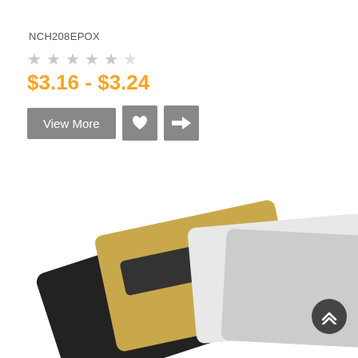NCH208EPOX
[Figure (other): 5-star rating display showing approximately 4.5 out of 5 stars in grey]
$3.16 - $3.24
[Figure (other): Three buttons: 'View More' grey button, grey heart icon button, grey compare arrows icon button]
[Figure (other): STOCK ITEM badge: orange top section with 'STOCK' text, black bottom section with 'ITEM' text]
[Figure (photo): Product photo showing stacked name badge holders/magnetic name badges in gold, black, silver, and grey colors at an angle]